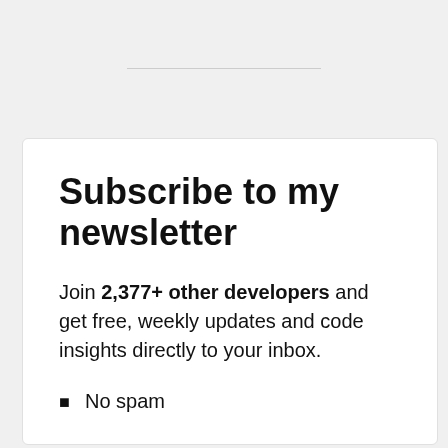Subscribe to my newsletter
Join 2,377+ other developers and get free, weekly updates and code insights directly to your inbox.
No spam